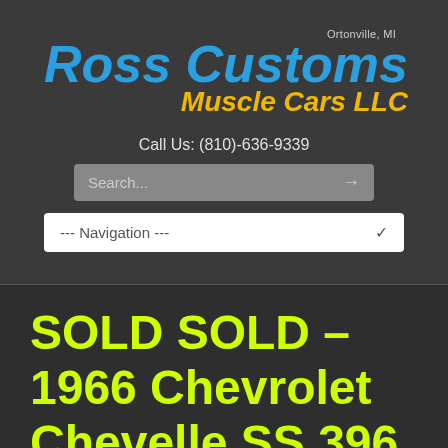[Figure (logo): Ross Customs Muscle Cars LLC logo with blue italic text for 'Ross Customs' and yellow italic text for 'Muscle Cars LLC', with 'Ortonville, MI' in gray above]
Call Us: (810)-636-9339
Search...
--- Navigation ---
SOLD SOLD – 1966 Chevrolet Chevelle SS 396 –